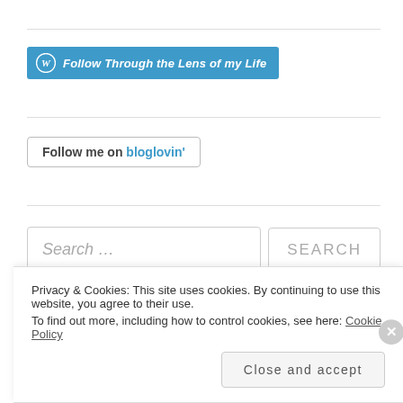[Figure (other): WordPress Follow button: blue button with WordPress logo and text 'Follow Through the Lens of my Life']
[Figure (other): Bloglovin follow button: outlined button with text 'Follow me on bloglovin']
Search …
Privacy & Cookies: This site uses cookies. By continuing to use this website, you agree to their use.
To find out more, including how to control cookies, see here: Cookie Policy
Close and accept